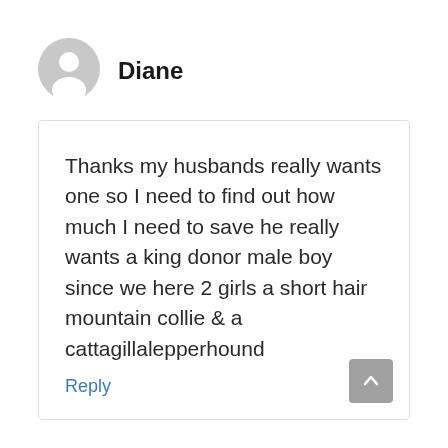[Figure (illustration): Generic user avatar icon — grey circle with white silhouette of a person]
Diane
Thanks my husbands really wants one so I need to find out how much I need to save he really wants a king donor male boy since we here 2 girls a short hair mountain collie & a cattagillalepperhound
Reply